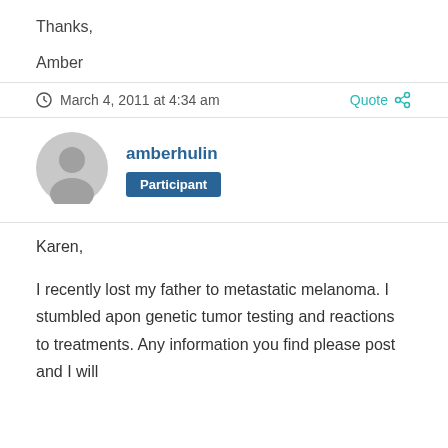Thanks,
Amber
March 4, 2011 at 4:34 am
Quote
amberhulin
Participant
Karen,
I recently lost my father to metastatic melanoma. I stumbled apon genetic tumor testing and reactions to treatments. Any information you find please post and I will